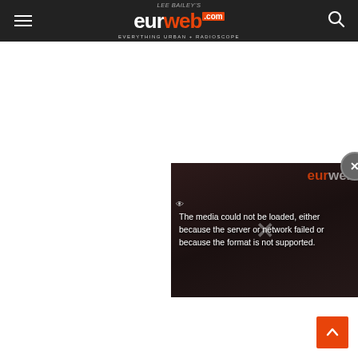Lee Bailey's eurweb.com — Everything Urban + Radioscope
[Figure (screenshot): Video player with error message overlay: 'The media could not be loaded, either because the server or network failed or because the format is not supported.' with close button (X) and eurweb logo watermark in background]
[Figure (other): Scroll-to-top button (orange/red background with upward arrow)]